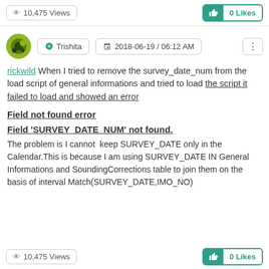10,475 Views   0 Likes
Trishita   2018-06-19 / 06:12 AM
rickwild When I tried to remove the survey_date_num from the load script of general informations and tried to load the script it failed to load and showed an error
Field not found error
Field 'SURVEY_DATE_NUM' not found.
The problem is I cannot  keep SURVEY_DATE only in the Calendar.This is because I am using SURVEY_DATE IN General Informations and SoundingCorrections table to join them on the basis of interval Match(SURVEY_DATE,IMO_NO)
10,475 Views   0 Likes